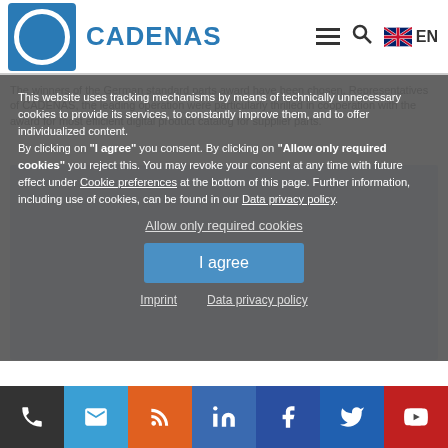CADENAS
This website uses tracking mechanisms by means of technically unnecessary cookies to provide its services, to constantly improve them, and to offer individualized content. By clicking on "I agree" you consent. By clicking on "Allow only required cookies" you reject this. You may revoke your consent at any time with future effect under Cookie preferences at the bottom of this page. Further information, including use of cookies, can be found in our Data privacy policy.
Allow only required cookies
I agree
Imprint
Data privacy policy
Social media icons: phone, email, rss, linkedin, facebook, twitter, youtube